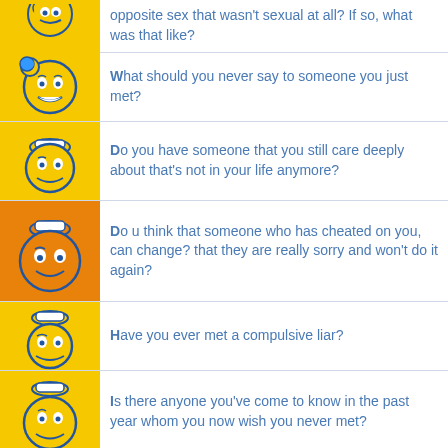opposite sex that wasn't sexual at all? If so, what was that like?
What should you never say to someone you just met?
Do you have someone that you still care deeply about that's not in your life anymore?
Do u think that someone who has cheated on you, can change? that they are really sorry and won't do it again?
Have you ever met a compulsive liar?
Is there anyone you've come to know in the past year whom you now wish you never met?
I don't know if my ex boyfriend...